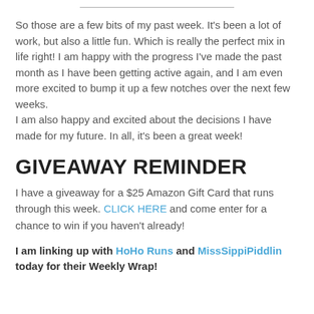So those are a few bits of my past week. It's been a lot of work, but also a little fun. Which is really the perfect mix in life right! I am happy with the progress I've made the past month as I have been getting active again, and I am even more excited to bump it up a few notches over the next few weeks.
I am also happy and excited about the decisions I have made for my future. In all, it's been a great week!
GIVEAWAY REMINDER
I have a giveaway for a $25 Amazon Gift Card that runs through this week. CLICK HERE and come enter for a chance to win if you haven't already!
I am linking up with HoHo Runs and MissSippiPiddlin today for their Weekly Wrap!